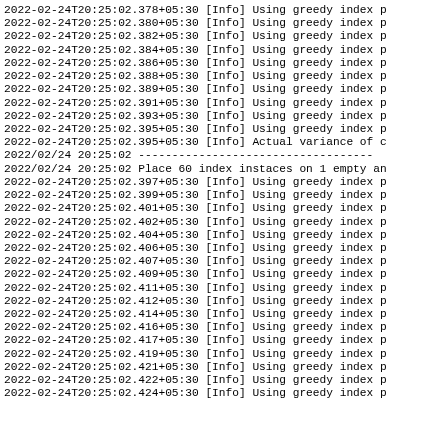2022-02-24T20:25:02.378+05:30 [Info] Using greedy index p
2022-02-24T20:25:02.380+05:30 [Info] Using greedy index p
2022-02-24T20:25:02.382+05:30 [Info] Using greedy index p
2022-02-24T20:25:02.384+05:30 [Info] Using greedy index p
2022-02-24T20:25:02.386+05:30 [Info] Using greedy index p
2022-02-24T20:25:02.388+05:30 [Info] Using greedy index p
2022-02-24T20:25:02.389+05:30 [Info] Using greedy index p
2022-02-24T20:25:02.391+05:30 [Info] Using greedy index p
2022-02-24T20:25:02.393+05:30 [Info] Using greedy index p
2022-02-24T20:25:02.395+05:30 [Info] Using greedy index p
2022-02-24T20:25:02.395+05:30 [Info] Actual variance of c
2022/02/24 20:25:02 -----------------------------------
2022/02/24 20:25:02 Place 60 index instaces on 1 empty an
2022-02-24T20:25:02.397+05:30 [Info] Using greedy index p
2022-02-24T20:25:02.399+05:30 [Info] Using greedy index p
2022-02-24T20:25:02.401+05:30 [Info] Using greedy index p
2022-02-24T20:25:02.402+05:30 [Info] Using greedy index p
2022-02-24T20:25:02.404+05:30 [Info] Using greedy index p
2022-02-24T20:25:02.406+05:30 [Info] Using greedy index p
2022-02-24T20:25:02.407+05:30 [Info] Using greedy index p
2022-02-24T20:25:02.409+05:30 [Info] Using greedy index p
2022-02-24T20:25:02.411+05:30 [Info] Using greedy index p
2022-02-24T20:25:02.412+05:30 [Info] Using greedy index p
2022-02-24T20:25:02.414+05:30 [Info] Using greedy index p
2022-02-24T20:25:02.416+05:30 [Info] Using greedy index p
2022-02-24T20:25:02.417+05:30 [Info] Using greedy index p
2022-02-24T20:25:02.419+05:30 [Info] Using greedy index p
2022-02-24T20:25:02.421+05:30 [Info] Using greedy index p
2022-02-24T20:25:02.422+05:30 [Info] Using greedy index p
2022-02-24T20:25:02.424+05:30 [Info] Using greedy index p